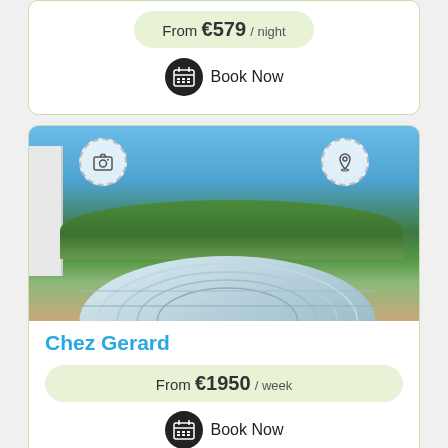From €579 / night
Book Now
[Figure (photo): Outdoor photo showing a pool with a curved transparent/polycarbonate enclosure cover, a white building on the left, and a forested hillside in the background under a blue sky.]
Chez Gerard
From €1950 / week
Book Now